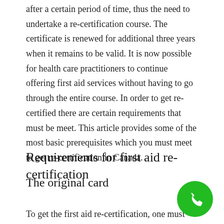after a certain period of time, thus the need to undertake a re-certification course. The certificate is renewed for additional three years when it remains to be valid. It is now possible for health care practitioners to continue offering first aid services without having to go through the entire course. In order to get re-certified there are certain requirements that must be meet. This article provides some of the most basic prerequisites which you must meet to get re-certification in Canada.
Requirements for first aid re-certification
The original card
To get the first aid re-certification, one must
[Figure (other): Green circular phone/call button icon in the bottom right corner]